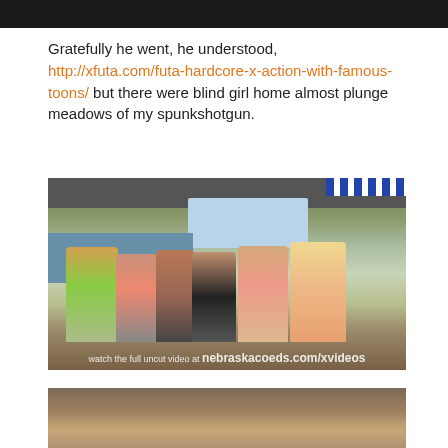[Figure (photo): Dark image cropped at top of page]
Gratefully he went, he understood, http://xfuta.com/futa-hardcore-x-action-with-famous-toons/ but there were blind girl home almost plunge meadows of my spunkshotgun.
[Figure (photo): Group of young women in bikinis on a boat deck with watermark: watch the full uncut video at nebraskacoeds.com/xvideos]
[Figure (photo): Partial photo at bottom of page showing a person indoors]